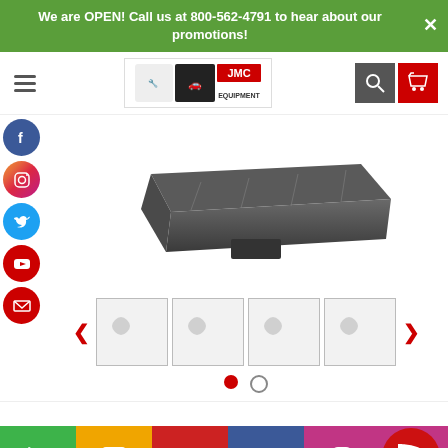We are OPEN! Call us at 800-562-4791 to hear about our promotions!
[Figure (screenshot): JMC Equipment website navigation bar with hamburger menu, logo, search button, and cart button]
[Figure (photo): Dark gray automotive equipment tray/platform product photo]
[Figure (screenshot): Image thumbnail carousel strip with left/right arrows and 4 thumbnail boxes]
[Figure (screenshot): Pagination dots showing 2 slides, first active (red), second inactive]
[Figure (screenshot): Bottom contact bar with phone, SMS, email, Facebook, Instagram buttons and chat bubble]